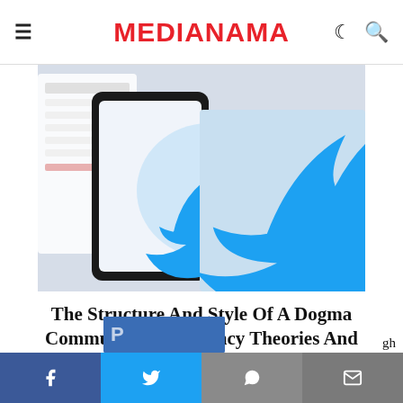MEDIANAMA
[Figure (photo): Smartphone displaying Twitter bird logo on a light background, with a tablet visible at the left edge. Blue Twitter bird icon prominently shown.]
The Structure And Style Of A Dogma Community: Conspiracy Theories And Organized Twitter Engagement On Sushant Singh Rajput